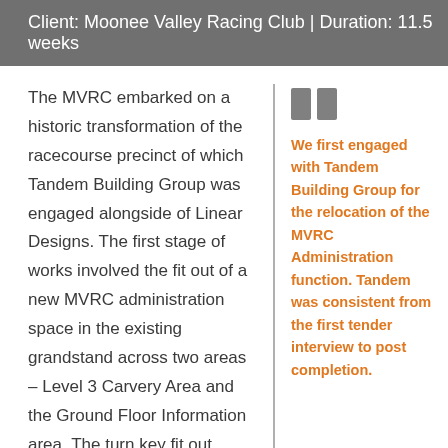Client: Moonee Valley Racing Club | Duration: 11.5 weeks
The MVRC embarked on a historic transformation of the racecourse precinct of which Tandem Building Group was engaged alongside of Linear Designs. The first stage of works involved the fit out of a new MVRC administration space in the existing grandstand across two areas – Level 3 Carvery Area and the Ground Floor Information area. The turn key fit out delivery included a new kitchen, meeting rooms, boardroom, in-house museum, server room
We first engaged with Tandem Building Group for the relocation of the MVRC Administration function. Tandem was consistent from the first tender interview to post completion.